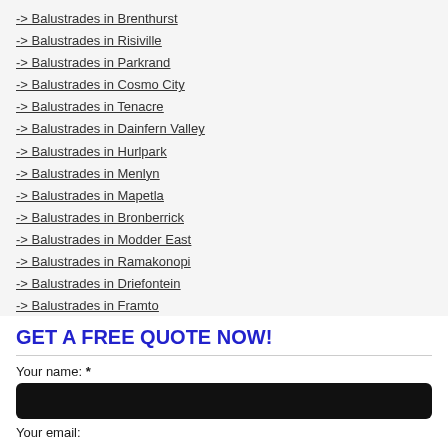-> Balustrades in Brenthurst
-> Balustrades in Risiville
-> Balustrades in Parkrand
-> Balustrades in Cosmo City
-> Balustrades in Tenacre
-> Balustrades in Dainfern Valley
-> Balustrades in Hurlpark
-> Balustrades in Menlyn
-> Balustrades in Mapetla
-> Balustrades in Bronberrick
-> Balustrades in Modder East
-> Balustrades in Ramakonopi
-> Balustrades in Driefontein
-> Balustrades in Framto
-> Balustrades in The Fields
GET A FREE QUOTE NOW!
Your name: *
Your email: